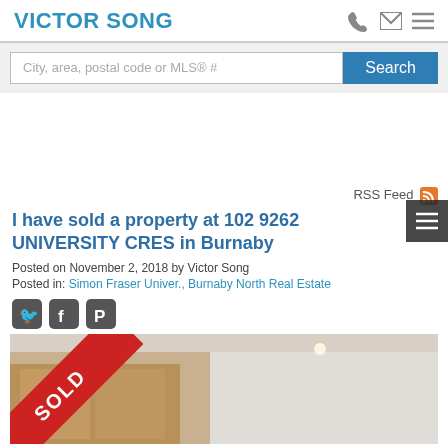VICTOR SONG
City, area, postal code or MLS® #
I have sold a property at 102 9262 UNIVERSITY CRES in Burnaby
Posted on November 2, 2018 by Victor Song
Posted in: Simon Fraser Univer., Burnaby North Real Estate
[Figure (photo): Interior photo of sold property at 102 9262 University Cres in Burnaby, with a red SOLD ribbon overlay in the top-left corner]